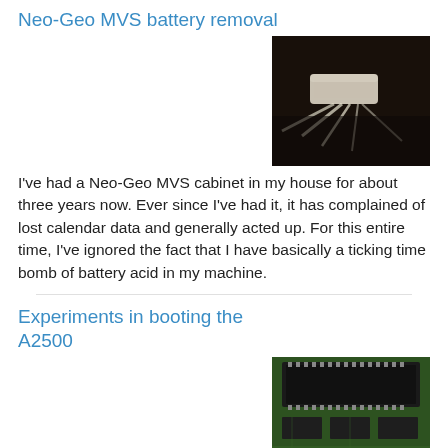Neo-Geo MVS battery removal
[Figure (photo): Photo of Neo-Geo MVS cabinet internal components showing wires and a white component]
I've had a Neo-Geo MVS cabinet in my house for about three years now. Ever since I've had it, it has complained of lost calendar data and generally acted up. For this entire time, I've ignored the fact that I have basically a ticking time bomb of battery acid in my machine.
Experiments in booting the A2500
[Figure (photo): Close-up photo of a green circuit board with chips and components]
Threw a few more hours at the A2000 today, cleaning up here and there. I popped out the 68000, cleaned up the pins, and checked the socket. The socket wipers are immaculate, not a speck of